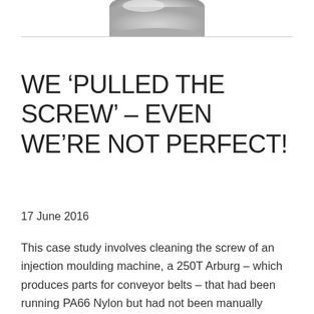[Figure (photo): Partial view of a grey industrial screw or cylindrical metal component at the top of the page, cropped]
WE ‘PULLED THE SCREW’ – EVEN WE’RE NOT PERFECT!
17 June 2016
This case study involves cleaning the screw of an injection moulding machine, a 250T Arburg – which produces parts for conveyor belts – that had been running PA66 Nylon but had not been manually cleaned for 7 months. It nicely demonstrates the